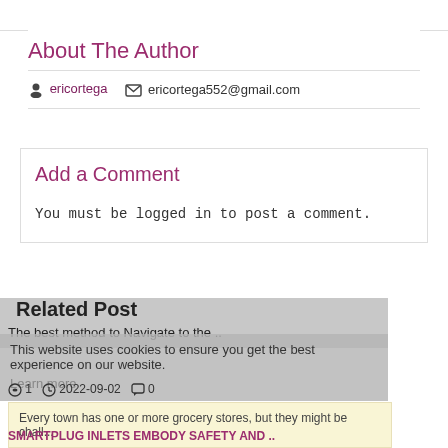About The Author
ericortega  ericortega552@gmail.com
Add a Comment
You must be logged in to post a comment.
Related Post
This website uses cookies to ensure you get the best experience on our website.
The best method to Navigate to the ..
Learn more
👁 1  🕐 2022-09-02  💬 0
Every town has one or more grocery stores, but they might be chall...
SMARTPLUG INLETS EMBODY SAFETY AND ..